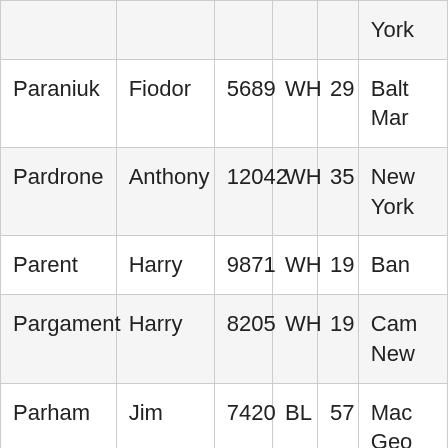| Last Name | First Name | ID | Race | Age | Location |
| --- | --- | --- | --- | --- | --- |
|  |  |  |  |  | York |
| Paraniuk | Fiodor | 5689 | WH | 29 | Balt Mar |
| Pardrone | Anthony | 12042 | WH | 35 | New York |
| Parent | Harry | 9871 | WH | 19 | Ban |
| Pargament | Harry | 8205 | WH | 19 | Cam New |
| Parham | Jim | 7420 | BL | 57 | Mac Geo |
| Parham | Cornelius | 2787 | BL | 37 | Was DC |